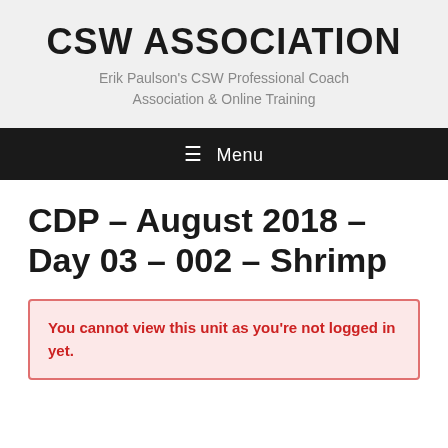CSW ASSOCIATION
Erik Paulson's CSW Professional Coach Association & Online Training
≡ Menu
CDP – August 2018 – Day 03 – 002 – Shrimp
You cannot view this unit as you're not logged in yet.